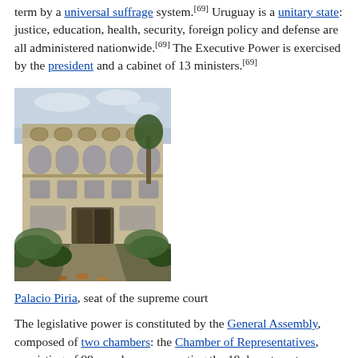term by a universal suffrage system.[69] Uruguay is a unitary state: justice, education, health, security, foreign policy and defense are all administered nationwide.[69] The Executive Power is exercised by the president and a cabinet of 13 ministers.[69]
[Figure (photo): Photograph of Palacio Piria, a multi-story neoclassical building with arched windows, balconies, and surrounding trees and courtyard.]
Palacio Piria, seat of the supreme court
The legislative power is constituted by the General Assembly, composed of two chambers: the Chamber of Representatives, consisting of 99 members representing the 19 departments, elected for a five-year term based on proportional representation; and the